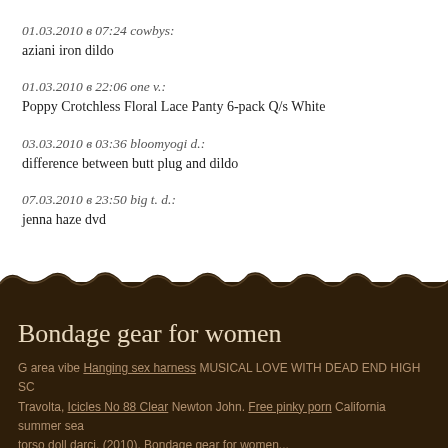01.03.2010 в 07:24 cowbys:
aziani iron dildo
01.03.2010 в 22:06 one v.:
Poppy Crotchless Floral Lace Panty 6-pack Q/s White
03.03.2010 в 03:36 bloomyogi d.:
difference between butt plug and dildo
07.03.2010 в 23:50 big t. d.:
jenna haze dvd
Bondage gear for women
G area vibe Hanging sex harness MUSICAL LOVE WITH DEAD END HIGH SC
Travolta, Icicles No 88 Clear Newton John. Free pinky porn California summer sea
torso doll darci. (2010). Bondage gear for women...